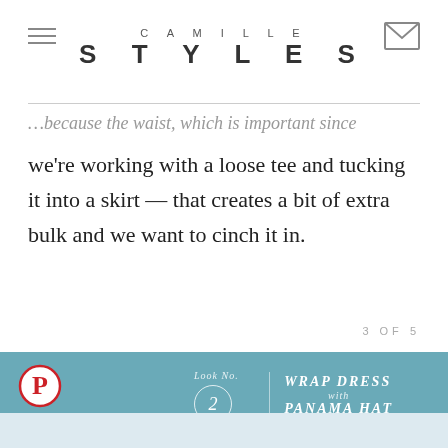CAMILLE STYLES
…because the waist, which is important since we're working with a loose tee and tucking it into a skirt — that creates a bit of extra bulk and we want to cinch it in.
3 OF 5
[Figure (photo): Teal/blue textured background with a Pinterest button icon, a 'Look No. 2' circle label with divider line, and text 'WRAP DRESS with PANAMA HAT'. A white panama hat is partially visible at the bottom.]